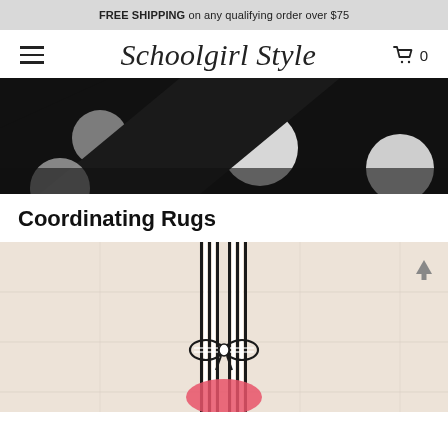FREE SHIPPING on any qualifying order over $75
[Figure (logo): Schoolgirl Style logo with hamburger menu and cart icon showing 0 items]
[Figure (photo): Close-up of black fabric with large white polka dots]
Coordinating Rugs
[Figure (photo): Product photo of a rug with black and white stripe border and bow detail on pink/cream background, with back-to-top arrow]